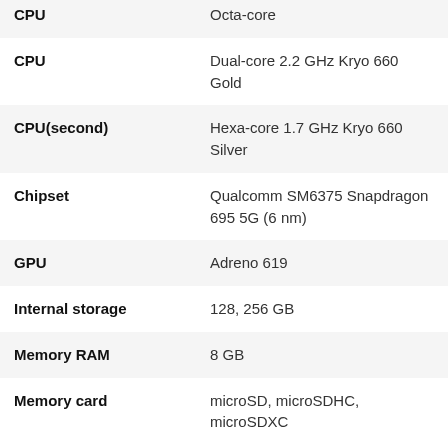| Attribute | Value |
| --- | --- |
| CPU | Octa-core |
| CPU | Dual-core 2.2 GHz Kryo 660 Gold |
| CPU(second) | Hexa-core 1.7 GHz Kryo 660 Silver |
| Chipset | Qualcomm SM6375 Snapdragon 695 5G (6 nm) |
| GPU | Adreno 619 |
| Internal storage | 128, 256 GB |
| Memory RAM | 8 GB |
| Memory card | microSD, microSDHC, microSDXC |
see related models